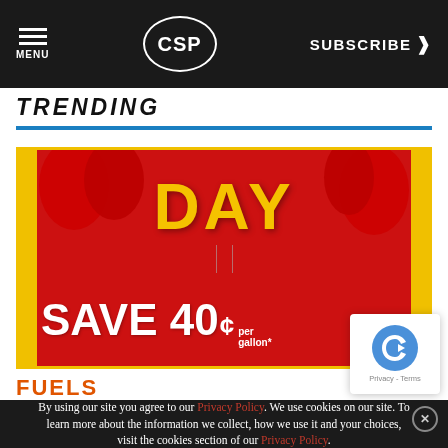MENU | CSP | SUBSCRIBE >
TRENDING
[Figure (photo): Advertisement showing red balloons, gold balloon letters spelling DAY, with text SAVE 40¢ per gallon on red background with yellow border]
FUELS
By using our site you agree to our Privacy Policy. We use cookies on our site. To learn more about the information we collect, how we use it and your choices, visit the cookies section of our Privacy Policy.